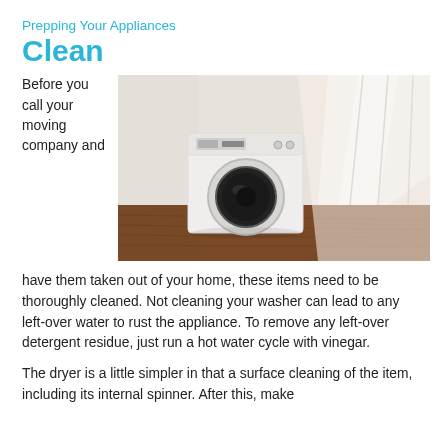Prepping Your Appliances Clean
Before you call your moving company and have them taken out of your home, these items need to be thoroughly cleaned. Not cleaning your washer can lead to any left-over water to rust the appliance. To remove any left-over detergent residue, just run a hot water cycle with vinegar.
[Figure (photo): A white front-loading washing machine sitting in an empty room with hardwood floors and sunlight streaming through windows on the right wall.]
The dryer is a little simpler in that a surface cleaning of the item, including its internal spinner. After this, make